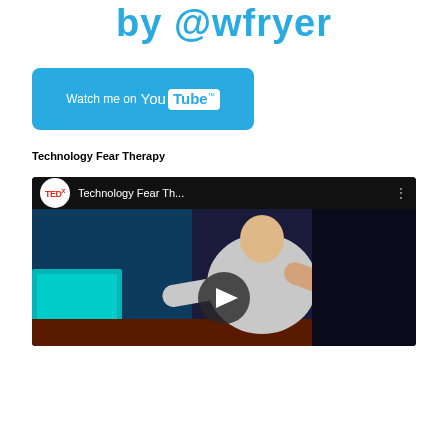by @wfryer
[Figure (screenshot): Watch me on YouTube button - blue rectangular button with YouTube logo]
Technology Fear Therapy
[Figure (screenshot): TEDx YouTube video thumbnail showing a person gesturing on stage. Video title: Technology Fear Th...]